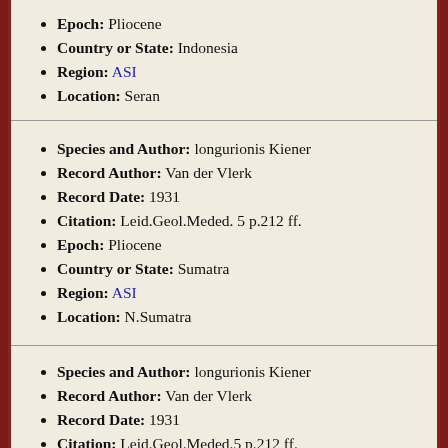Epoch: Pliocene
Country or State: Indonesia
Region: ASI
Location: Seran
Species and Author: longurionis Kiener
Record Author: Van der Vlerk
Record Date: 1931
Citation: Leid.Geol.Meded. 5 p.212 ff.
Epoch: Pliocene
Country or State: Sumatra
Region: ASI
Location: N.Sumatra
Species and Author: longurionis Kiener
Record Author: Van der Vlerk
Record Date: 1931
Citation: Leid.Geol.Meded.5 p.212 ff.
Epoch: Pliocene
Formation or Group: Sonde beds
Country or State: Java
Region: ASI